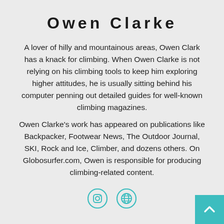Owen Clarke
A lover of hilly and mountainous areas, Owen Clark has a knack for climbing. When Owen Clarke is not relying on his climbing tools to keep him exploring higher attitudes, he is usually sitting behind his computer penning out detailed guides for well-known climbing magazines.
Owen Clarke's work has appeared on publications like Backpacker, Footwear News, The Outdoor Journal, SKI, Rock and Ice, Climber, and dozens others. On Globosurfer.com, Owen is responsible for producing climbing-related content.
[Figure (illustration): Two teal-colored circular icons: an Instagram camera icon and a globe/web icon, side by side]
[Figure (illustration): Teal back-to-top button in bottom right corner with a white upward chevron arrow]